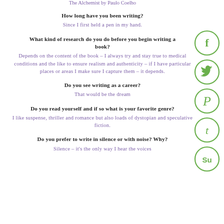The Alchemist by Paulo Coelho
How long have you been writing?
Since I first held a pen in my hand.
What kind of research do you do before you begin writing a book?
Depends on the content of the book – I always try and stay true to medical conditions and the like to ensure realism and authenticity – if I have particular places or areas I make sure I capture them – it depends.
Do you see writing as a career?
That would be the dream
Do you read yourself and if so what is your favorite genre?
I like suspense, thriller and romance but also loads of dystopian and speculative fiction.
Do you prefer to write in silence or with noise? Why?
Silence – it's the only way I hear the voices
[Figure (illustration): Five social media circular icons in green outline style: Facebook (f), Twitter (bird), Pinterest (P), Tumblr (t), StumbleUpon (su)]